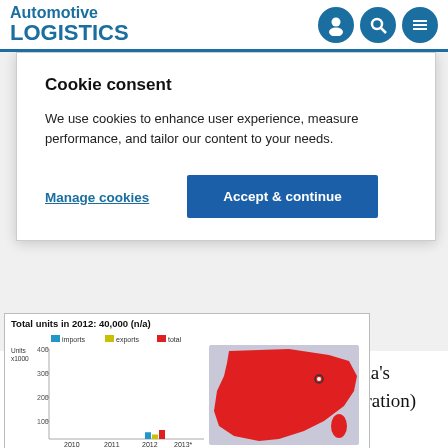Automotive LOGISTICS
Cookie consent
We use cookies to enhance user experience, measure performance, and tailor our content to your needs.
Manage cookies
Accept & continue
[Figure (bar-chart): Bar chart showing imports, exports, and total automotive units from 2010 to 2013, alongside a map of China highlighted in red.]
such as indoor storage, distribution, CIQ (China's entry-exit inspections and quarantine administration) and PDI (pre-